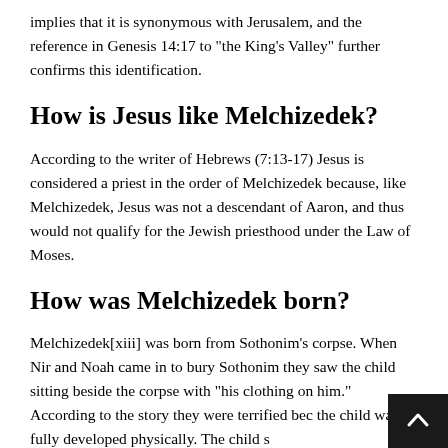implies that it is synonymous with Jerusalem, and the reference in Genesis 14:17 to “the King’s Valley” further confirms this identification.
How is Jesus like Melchizedek?
According to the writer of Hebrews (7:13-17) Jesus is considered a priest in the order of Melchizedek because, like Melchizedek, Jesus was not a descendant of Aaron, and thus would not qualify for the Jewish priesthood under the Law of Moses.
How was Melchizedek born?
Melchizedek[xiii] was born from Sothonim’s corpse. When Nir and Noah came in to bury Sothonim they saw the child sitting beside the corpse with “his clothing on him.” According to the story they were terrified bec the child was fully developed physically. The child s